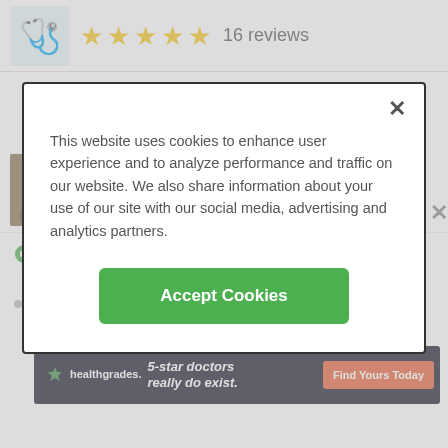[Figure (screenshot): Background top bar with medical stethoscope icon, 5 gold stars, and '16 reviews' text]
This website uses cookies to enhance user experience and to analyze performance and traffic on our website. We also share information about your use of our site with our social media, advertising and analytics partners.
Accept Cookies
[Figure (screenshot): Provider photo (woman with brown hair), 4.5 gold stars, 7 reviews]
6601 SW 80th St Ste 200B
South Miami, FL 33143
12.2 miles away  ADVERTISEMENT
[Figure (screenshot): Healthgrades advertisement banner: '5-star doctors really do exist. Find Yours Today']